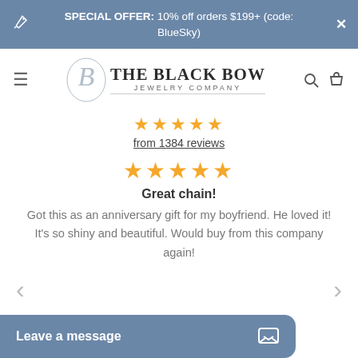SPECIAL OFFER: 10% off orders $199+ (code: BlueSky)
[Figure (logo): The Black Bow Jewelry Company logo with stylized B monogram]
★★★★★ from 1384 reviews
★★★★★ Great chain! Got this as an anniversary gift for my boyfriend. He loved it! It's so shiny and beautiful. Would buy from this company again!
Leave a message